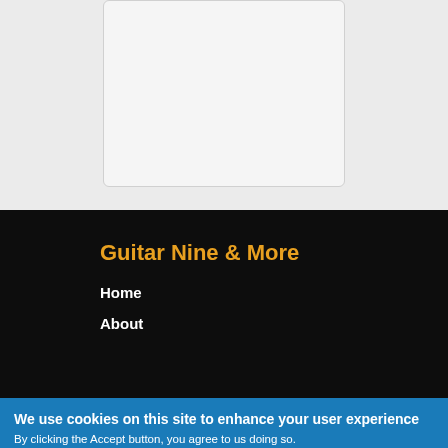[Figure (other): Light gray card/panel with rounded corners on a gray background]
Guitar Nine & More
Home
About
We use cookies on this site to enhance your user experience
By clicking the Accept button, you agree to us doing so.